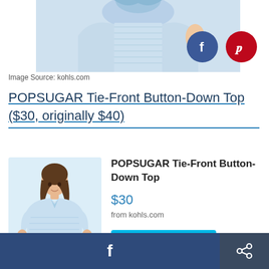[Figure (photo): Top portion of a light blue POPSUGAR Tie-Front Button-Down Top product photo, with Facebook and Pinterest share buttons overlaid in the top right corner.]
Image Source: kohls.com
POPSUGAR Tie-Front Button-Down Top ($30, originally $40)
[Figure (photo): Product photo of a woman wearing a light blue POPSUGAR Tie-Front Button-Down Top, with short sleeves and a front tie detail, displayed as a product card.]
POPSUGAR Tie-Front Button-Down Top
$30
from kohls.com
BUY NOW
f  (share button)